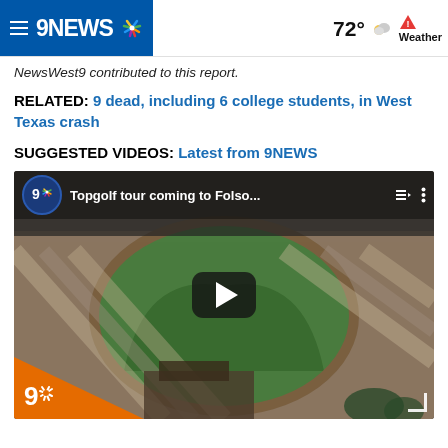9NEWS Weather 72°
NewsWest9 contributed to this report.
RELATED: 9 dead, including 6 college students, in West Texas crash
SUGGESTED VIDEOS: Latest from 9NEWS
[Figure (screenshot): YouTube video thumbnail showing aerial view of a stadium/baseball field with 9NEWS branding. Title reads 'Topgolf tour coming to Folso...' with play button overlay and 9NEWS orange logo in bottom left corner.]